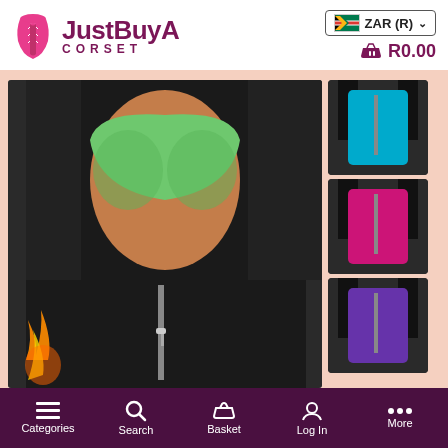JustBuyA CORSET — ZAR (R) — R0.00
[Figure (photo): E-commerce website screenshot showing a JustBuyA Corset product page. Main image shows a woman wearing a black neoprene waist trainer with a zipper, over a green sports bra. Three thumbnail images on the right show the same vest in teal/blue, pink/magenta, and purple colorways. The background behind the product is a light salmon/pink color.]
Categories  Search  Basket  Log In  More